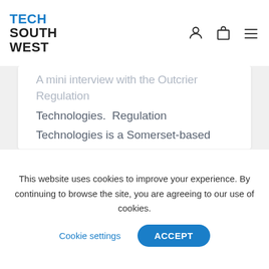TECH SOUTH WEST
A mini interview with the Outcrier Regulation Technologies.  Regulation Technologies is a Somerset-based information technology startup taking part in the Tech South West StartUp...
16 June 2021
This website uses cookies to improve your experience. By continuing to browse the site, you are agreeing to our use of cookies.
Cookie settings
ACCEPT